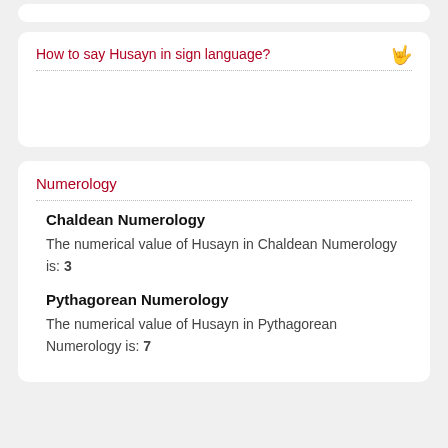How to say Husayn in sign language?
Numerology
Chaldean Numerology
The numerical value of Husayn in Chaldean Numerology is: 3
Pythagorean Numerology
The numerical value of Husayn in Pythagorean Numerology is: 7